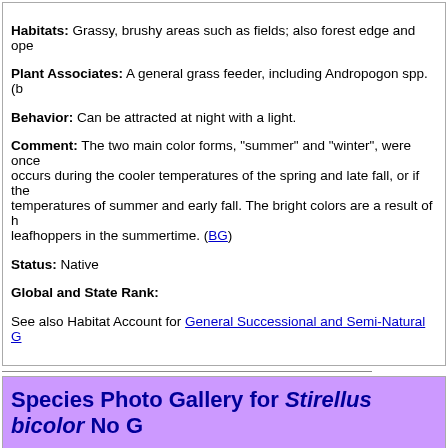Habitats: Grassy, brushy areas such as fields; also forest edge and ope...
Plant Associates: A general grass feeder, including Andropogon spp. (b...
Behavior: Can be attracted at night with a light.
Comment: The two main color forms, "summer" and "winter", were once... occurs during the cooler temperatures of the spring and late fall, or if the... temperatures of summer and early fall. The bright colors are a result of h... leafhoppers in the summertime. (BG)
Status: Native
Global and State Rank:
See also Habitat Account for General Successional and Semi-Natural G...
Species Photo Gallery for Stirellus bicolor No G...
[Figure (photo): Close-up photograph of a Stirellus bicolor leafhopper insect on a green leaf surface. The insect has a yellow-green head and dark brown body.]
Photo by: Margarita Lankford
Orange Co.
Comment:
https://www.inaturalist.org/observations...